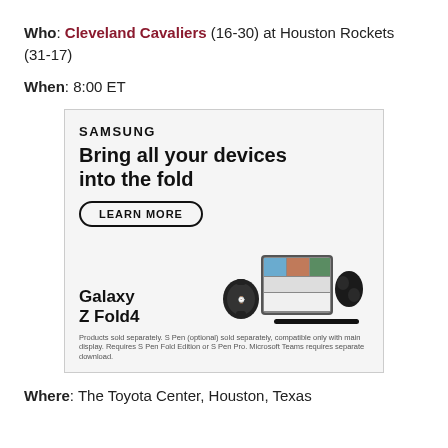Who: Cleveland Cavaliers (16-30) at Houston Rockets (31-17)
When: 8:00 ET
[Figure (other): Samsung advertisement for Galaxy Z Fold4. Text reads: SAMSUNG, Bring all your devices into the fold, LEARN MORE button, Galaxy Z Fold4. Shows product images of phone, smartwatch, earbuds, and stylus. Disclaimer: Products sold separately. S Pen (optional) sold separately, compatible only with main display. Requires S Pen Fold Edition or S Pen Pro. Microsoft Teams requires separate download.]
Where: The Toyota Center, Houston, Texas